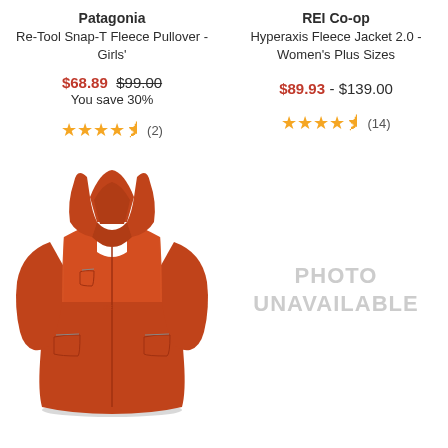Patagonia
Re-Tool Snap-T Fleece Pullover - Girls'
$68.89 $99.00
You save 30%
★★★★½ (2)
[Figure (photo): Orange hooded full-zip fleece jacket (Patagonia Re-Tool Snap-T Fleece Pullover)]
REI Co-op
Hyperaxis Fleece Jacket 2.0 - Women's Plus Sizes
$89.93 - $139.00
★★★★½ (14)
[Figure (photo): PHOTO UNAVAILABLE]